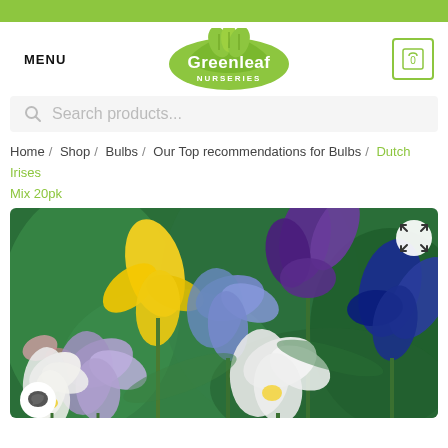Greenleaf Nurseries — website header with green top bar, logo, menu, cart, and search bar
Home / Shop / Bulbs / Our Top recommendations for Bulbs / Dutch Irises Mix 20pk
[Figure (photo): Product photo of Dutch Irises Mix showing colorful iris flowers in yellow, purple, blue, and white against a green leafy background. An expand icon is in the top-right corner and a chat button in the bottom-left.]